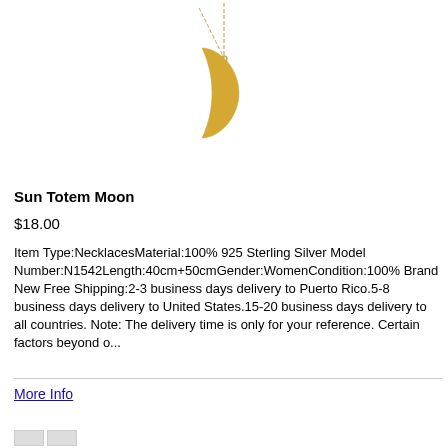[Figure (photo): A gold crescent moon pendant necklace on a thin chain, photographed against a white background.]
Sun Totem Moon
$18.00
Item Type:NecklacesMaterial:100% 925 Sterling Silver Model Number:N1542Length:40cm+50cmGender:WomenCondition:100% Brand New Free Shipping:2-3 business days delivery to Puerto Rico.5-8 business days delivery to United States.15-20 business days delivery to all countries. Note: The delivery time is only for your reference. Certain factors beyond o...
More Info
Add to Cart